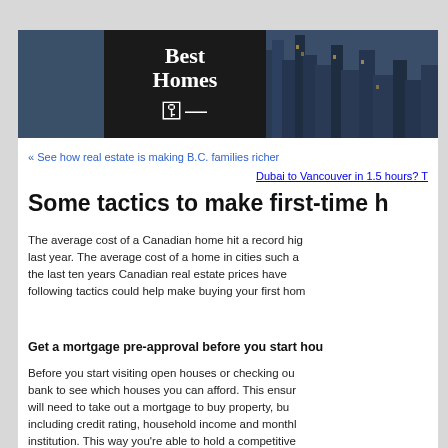[Figure (photo): Best Homes real estate website banner with city skyline of Vancouver at night and a logo block with 'Best Homes' text and a key icon on dark background]
« See how real estate is making B.C. families richer
Dubai to Vancouver in 1.5 hours? T
Some tactics to make first-time h
The average cost of a Canadian home hit a record hig last year. The average cost of a home in cities such a the last ten years Canadian real estate prices have following tactics could help make buying your first hom
Get a mortgage pre-approval before you start hou
Before you start visiting open houses or checking ou bank to see which houses you can afford. This ensur will need to take out a mortgage to buy property, bu including credit rating, household income and monthl institution. This way you're able to hold a competitive
Buy a home with your parents or a buddy